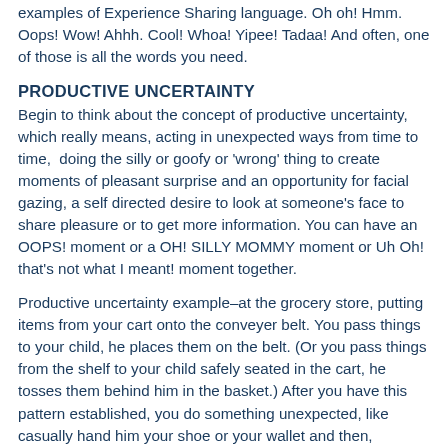examples of Experience Sharing language. Oh oh! Hmm. Oops! Wow! Ahhh. Cool! Whoa! Yipee! Tadaa! And often, one of those is all the words you need.
PRODUCTIVE UNCERTAINTY
Begin to think about the concept of productive uncertainty, which really means, acting in unexpected ways from time to time,  doing the silly or goofy or 'wrong' thing to create moments of pleasant surprise and an opportunity for facial gazing, a self directed desire to look at someone's face to share pleasure or to get more information. You can have an OOPS! moment or a OH! SILLY MOMMY moment or Uh Oh! that's not what I meant! moment together.
Productive uncertainty example–at the grocery store, putting items from your cart onto the conveyer belt. You pass things to your child, he places them on the belt. (Or you pass things from the shelf to your child safely seated in the cart, he tosses them behind him in the basket.) After you have this pattern established, you do something unexpected, like casually hand him your shoe or your wallet and then, hopefully, he will stop, look at it and then at you and then you can hold his gaze in a silly moment of , oh, no, that's not